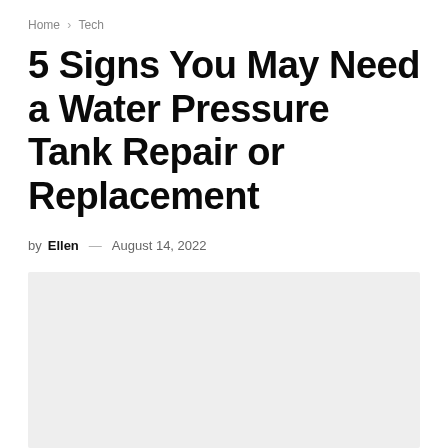Home > Tech
5 Signs You May Need a Water Pressure Tank Repair or Replacement
by Ellen — August 14, 2022
[Figure (photo): Light grey placeholder image for article about water pressure tank repair or replacement]